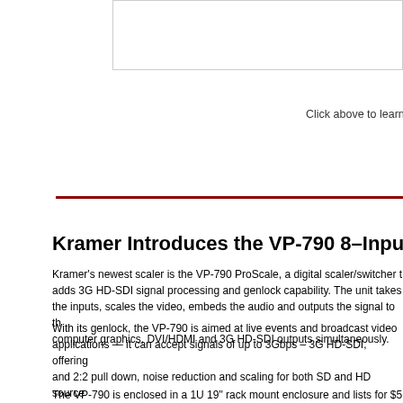Click above to learn mo
Kramer Introduces the VP-790 8–Input Digital Sca
Kramer's newest scaler is the VP-790 ProScale, a digital scaler/switcher t adds 3G HD-SDI signal processing and genlock capability. The unit takes the inputs, scales the video, embeds the audio and outputs the signal to th computer graphics, DVI/HDMI and 3G HD-SDI outputs simultaneously.
With its genlock, the VP-790 is aimed at live events and broadcast video applications — it can accept signals of up to 3Gbps – 3G HD-SDI, offering and 2:2 pull down, noise reduction and scaling for both SD and HD source selections of full, overscan, underscan, letterbox and panscan. The built-i contrast and brightness while the unit's non-volatile memory saves the fin
The VP-790 is enclosed in a 1U 19" rack mount enclosure and lists for $5 http://www.kramerus.com/